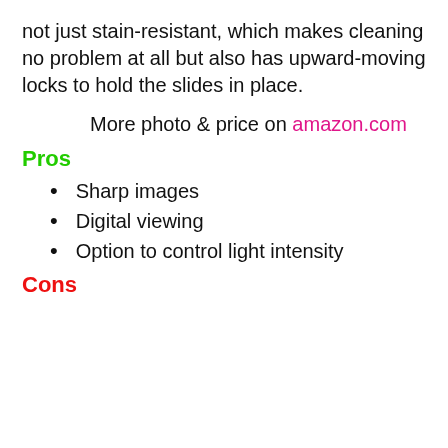not just stain-resistant, which makes cleaning no problem at all but also has upward-moving locks to hold the slides in place.
More photo & price on amazon.com
Pros
Sharp images
Digital viewing
Option to control light intensity
Cons